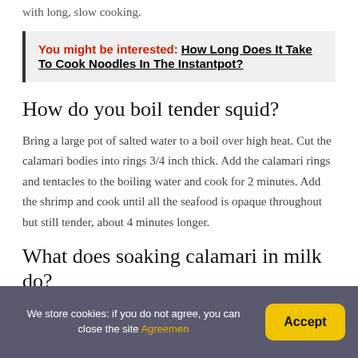with long, slow cooking.
You might be interested: How Long Does It Take To Cook Noodles In The Instantpot?
How do you boil tender squid?
Bring a large pot of salted water to a boil over high heat. Cut the calamari bodies into rings 3/4 inch thick. Add the calamari rings and tentacles to the boiling water and cook for 2 minutes. Add the shrimp and cook until all the seafood is opaque throughout but still tender, about 4 minutes longer.
What does soaking calamari in milk do?
We store cookies: if you do not agree, you can close the site Agreemen